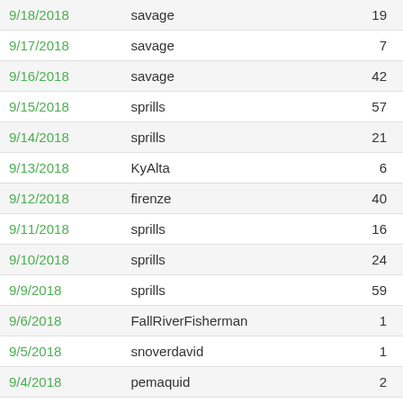| 9/18/2018 | savage | 19 |
| 9/17/2018 | savage | 7 |
| 9/16/2018 | savage | 42 |
| 9/15/2018 | sprills | 57 |
| 9/14/2018 | sprills | 21 |
| 9/13/2018 | KyAlta | 6 |
| 9/12/2018 | firenze | 40 |
| 9/11/2018 | sprills | 16 |
| 9/10/2018 | sprills | 24 |
| 9/9/2018 | sprills | 59 |
| 9/6/2018 | FallRiverFisherman | 1 |
| 9/5/2018 | snoverdavid | 1 |
| 9/4/2018 | pemaquid | 2 |